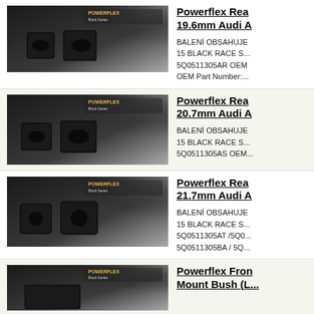[Figure (photo): Powerflex Black Series rear anti-roll bar bushes 19.6mm - two black polyurethane bushes shown against dark branded background]
Powerflex Rear Anti-Roll Bar Bush 19.6mm Audi A...
BALENÍ OBSAHUJE: 15 BLACK RACE SERIES ... 5Q0511305AR OEM Part Number:...
[Figure (photo): Powerflex Black Series rear anti-roll bar bushes 20.7mm - two black polyurethane bushes shown against dark branded background]
Powerflex Rear Anti-Roll Bar Bush 20.7mm Audi A...
BALENÍ OBSAHUJE: 15 BLACK RACE SERIES ... 5Q0511305AS OEM...
[Figure (photo): Powerflex Black Series rear anti-roll bar bushes 21.7mm - two black polyurethane bushes shown against dark branded background]
Powerflex Rear Anti-Roll Bar Bush 21.7mm Audi A...
BALENÍ OBSAHUJE: 15 BLACK RACE SERIES ... 5Q0511305AT /5Q0... 5Q0511305BA / 5Q...
[Figure (photo): Powerflex Front Engine Mount Bush - partial view of product against dark branded background]
Powerflex Front Engine Mount Bush (L...